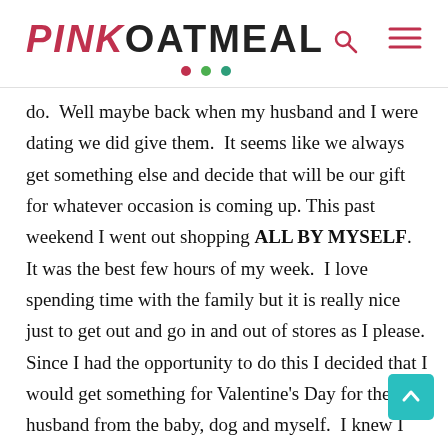PINK OATMEAL
do.  Well maybe back when my husband and I were dating we did give them.  It seems like we always get something else and decide that will be our gift for whatever occasion is coming up. This past weekend I went out shopping ALL BY MYSELF.  It was the best few hours of my week.  I love spending time with the family but it is really nice just to get out and go in and out of stores as I please.  Since I had the opportunity to do this I decided that I would get something for Valentine's Day for the husband from the baby, dog and myself.  I knew I wanted to do a fishing theme since he is crazy about fishing.